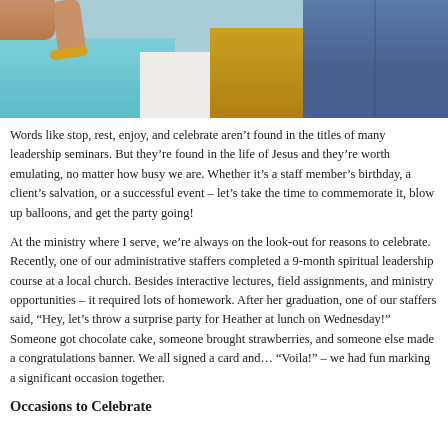[Figure (photo): Top portion of photo showing people standing together — teal shirt, white shirt, yellow/mustard shirt, blue jeans visible, one person's hand/arm with gold bracelet raised]
Words like stop, rest, enjoy, and celebrate aren’t found in the titles of many leadership seminars. But they’re found in the life of Jesus and they’re worth emulating, no matter how busy we are. Whether it’s a staff member’s birthday, a client’s salvation, or a successful event – let’s take the time to commemorate it, blow up balloons, and get the party going!
At the ministry where I serve, we’re always on the look-out for reasons to celebrate. Recently, one of our administrative staffers completed a 9-month spiritual leadership course at a local church. Besides interactive lectures, field assignments, and ministry opportunities – it required lots of homework. After her graduation, one of our staffers said, “Hey, let’s throw a surprise party for Heather at lunch on Wednesday!” Someone got chocolate cake, someone brought strawberries, and someone else made a congratulations banner. We all signed a card and… “Voila!” – we had fun marking a significant occasion together.
Occasions to Celebrate